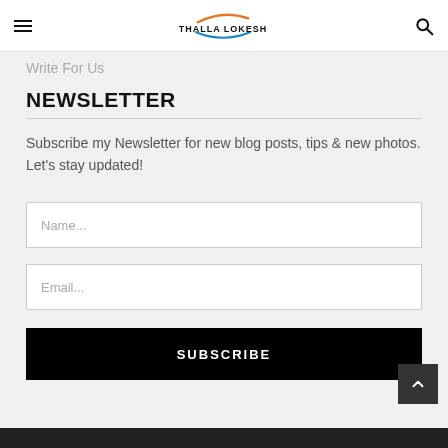Thalla Lokesh
Write For Us
NEWSLETTER
Subscribe my Newsletter for new blog posts, tips & new photos. Let's stay updated!
Name...
Email...
SUBSCRIBE